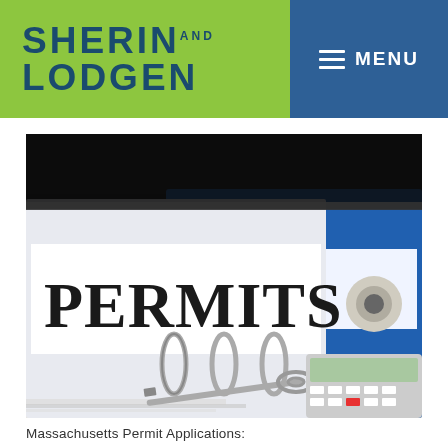SHERIN AND LODGEN | MENU
[Figure (photo): A blue ring binder labeled PERMITS on a white label, with a blue binder behind it, ring binder mechanism, a pen, keys, and a calculator visible on a desk surface.]
Massachusetts Permit Applications: